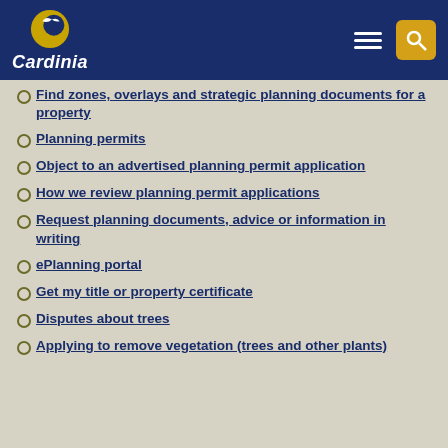Cardinia
Find zones, overlays and strategic planning documents for a property
Planning permits
Object to an advertised planning permit application
How we review planning permit applications
Request planning documents, advice or information in writing
ePlanning portal
Get my title or property certificate
Disputes about trees
Applying to remove vegetation (trees and other plants)